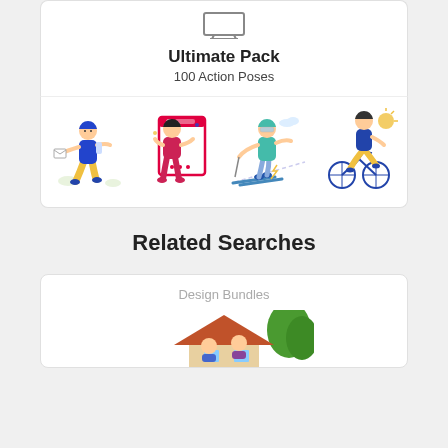[Figure (illustration): Small icon of a computer monitor/screen outline in gray]
Ultimate Pack
100 Action Poses
[Figure (illustration): Four flat style illustrations: person walking and carrying envelope, person holding large phone/social media frame, person skiing, person riding bicycle]
Related Searches
Design Bundles
[Figure (illustration): Partial illustration of two characters with a house and trees visible at bottom of page]